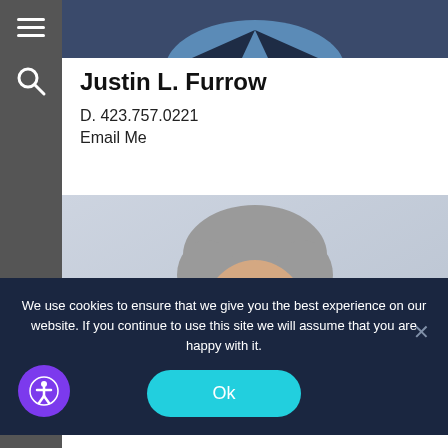[Figure (photo): Partial torso photo of person in dark navy suit and blue shirt, cropped at shoulder level]
Justin L. Furrow
D. 423.757.0221
Email Me
[Figure (photo): Professional headshot of older man with silver-grey hair wearing dark navy suit and blue shirt, light grey background]
We use cookies to ensure that we give you the best experience on our website. If you continue to use this site we will assume that you are happy with it.
Ok